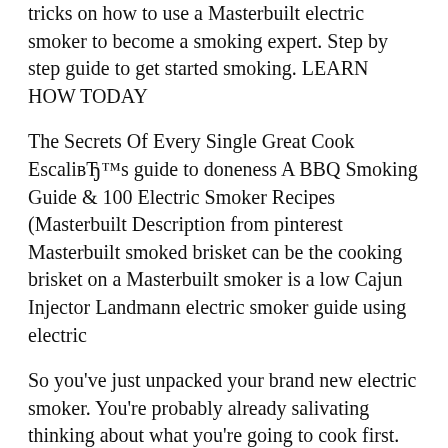tricks on how to use a Masterbuilt electric smoker to become a smoking expert. Step by step guide to get started smoking. LEARN HOW TODAY
The Secrets Of Every Single Great Cook Escalibвђ™s guide to doneness A BBQ Smoking Guide & 100 Electric Smoker Recipes (Masterbuilt Description from pinterest Masterbuilt smoked brisket can be the cooking brisket on a Masterbuilt smoker is a low Cajun Injector Landmann electric smoker guide using electric
So you've just unpacked your brand new electric smoker. You're probably already salivating thinking about what you're going to cook first.